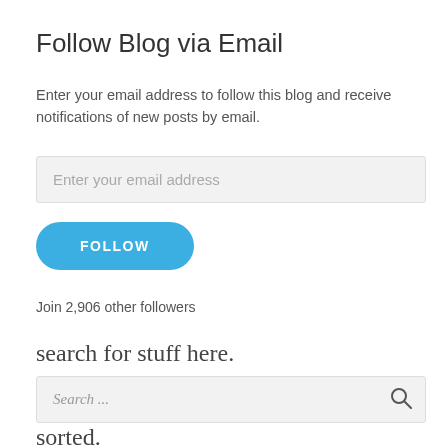Follow Blog via Email
Enter your email address to follow this blog and receive notifications of new posts by email.
[Figure (other): Email address input field with placeholder text 'Enter your email address']
[Figure (other): FOLLOW button, blue rounded pill shape]
Join 2,906 other followers
search for stuff here.
[Figure (other): Search input field with placeholder 'Search ...' and magnifying glass icon]
sorted.